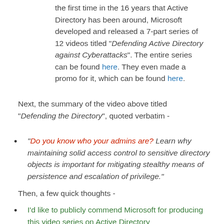the first time in the 16 years that Active Directory has been around, Microsoft developed and released a 7-part series of 12 videos titled "Defending Active Directory against Cyberattacks". The entire series can be found here. They even made a promo for it, which can be found here.
Next, the summary of the video above titled "Defending the Directory", quoted verbatim -
"Do you know who your admins are? Learn why maintaining solid access control to sensitive directory objects is important for mitigating stealthy means of persistence and escalation of privilege."
Then, a few quick thoughts -
I'd like to publicly commend Microsoft for producing this video series on Active Directory Security, which is the best resource for...